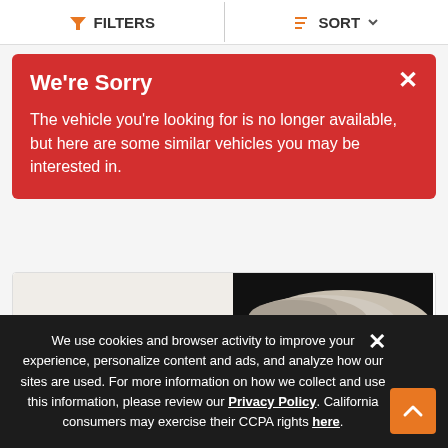FILTERS   SORT
We're Sorry

The vehicle you're looking for is no longer available, but here are some similar vehicles you may be interested in.
[Figure (photo): Partial image of a 1966 Ford Thunderbird vehicle, showing the rear/side body panel with dark background]
1966 Ford Thunderbird
$15,395
Engine   390
Advertisement
We use cookies and browser activity to improve your experience, personalize content and ads, and analyze how our sites are used. For more information on how we collect and use this information, please review our Privacy Policy. California consumers may exercise their CCPA rights here.